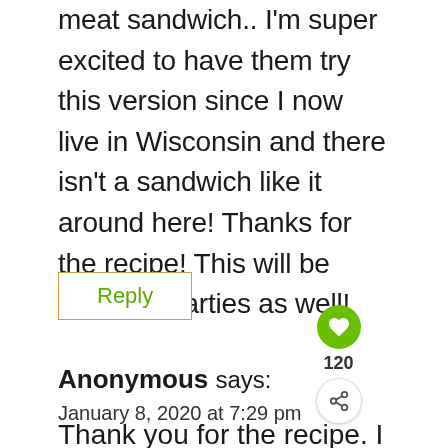meat sandwich.. I'm super excited to have them try this version since I now live in Wisconsin and there isn't a sandwich like it around here! Thanks for the recipe! This will be great for parties as well!
Reply
Anonymous says:
January 8, 2020 at 7:29 pm
Thank you for the recipe. I followed
[Figure (infographic): Heart/like button (green circle with heart icon), count of 120, and share button (circle with share icon). Also a 'What's Next' widget showing a thumbnail image and text 'No-Churn Blueberry Ic...']